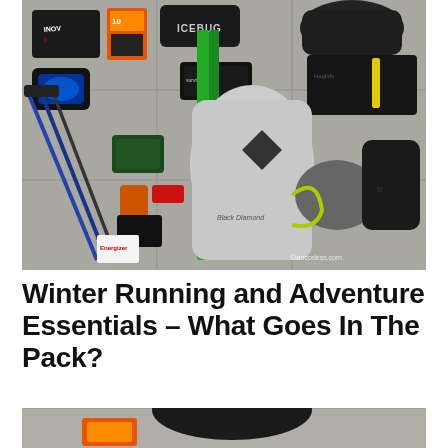[Figure (photo): Flat lay overhead photo of winter running and adventure gear spread out on a grey tiled floor. Items include trekking poles, running vest/backpack (Black Diamond), hydration bladder, inov-8 shoe bag, ICEBUG duffel bag, survival kit pouch, Haglöfs jacket and gear, head torch, GPS device, red emergency light, batteries (Energizer), small camera/electronics, gloves, hat, and various other trail running equipment. Watermark reads ©iancorless.com in bottom right.]
Winter Running and Adventure Essentials – What Goes In The Pack?
[Figure (photo): Partial view of a second photo showing adventure gear, with an orange item visible at the bottom, partially cropped.]